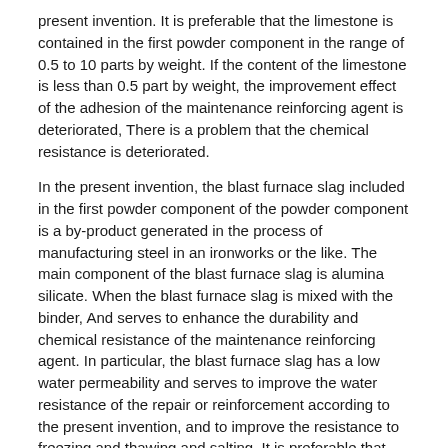present invention. It is preferable that the limestone is contained in the first powder component in the range of 0.5 to 10 parts by weight. If the content of the limestone is less than 0.5 part by weight, the improvement effect of the adhesion of the maintenance reinforcing agent is deteriorated, There is a problem that the chemical resistance is deteriorated.
In the present invention, the blast furnace slag included in the first powder component of the powder component is a by-product generated in the process of manufacturing steel in an ironworks or the like. The main component of the blast furnace slag is alumina silicate. When the blast furnace slag is mixed with the binder, And serves to enhance the durability and chemical resistance of the maintenance reinforcing agent. In particular, the blast furnace slag has a low water permeability and serves to improve the water resistance of the repair or reinforcement according to the present invention, and to improve the resistance to freezing and thawing and salting. It is preferable that the blast furnace slag is contained in the first powder component in a range of 1 to 20 parts by weight. When the content of the slag is less than 1 part by